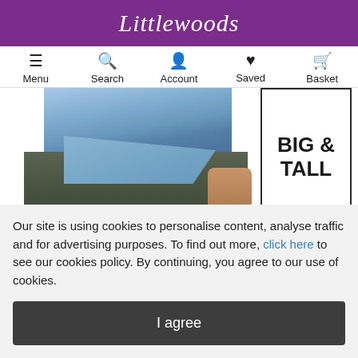Littlewoods
Menu  Search  Account  Saved  Basket
[Figure (photo): Partial view of a male model wearing a denim shirt and dark olive/khaki trousers, with a 'BIG & TALL' label overlay on the right side of the image.]
£54.99
£43.99 (Save £11)
Our site is using cookies to personalise content, analyse traffic and for advertising purposes. To find out more, click here to see our cookies policy. By continuing, you agree to our use of cookies.
I agree